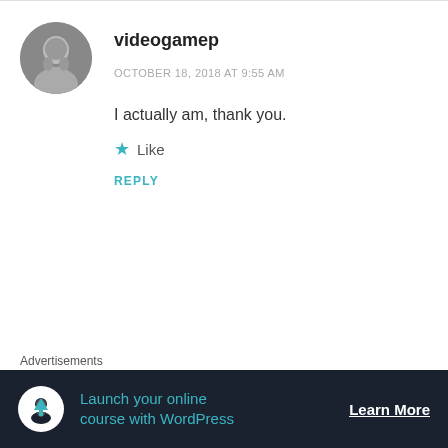videogamep
OCTOBER 18, 2018 AT 9:55 AM
I actually am, thank you.
Like
REPLY
Anonymous
Advertisements
Launch your online course with WordPress
Learn More